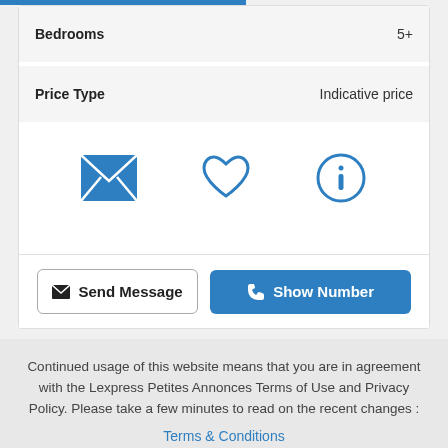| Property | Value |
| --- | --- |
| Bedrooms | 5+ |
| Price Type | Indicative price |
[Figure (infographic): Three icons: envelope/mail icon (blue filled), heart outline icon (blue), and info circle icon (blue outline)]
Send Message | Show Number
Continued usage of this website means that you are in agreement with the Lexpress Petites Annonces Terms of Use and Privacy Policy. Please take a few minutes to read on the recent changes :
Terms & Conditions
Allow cookies